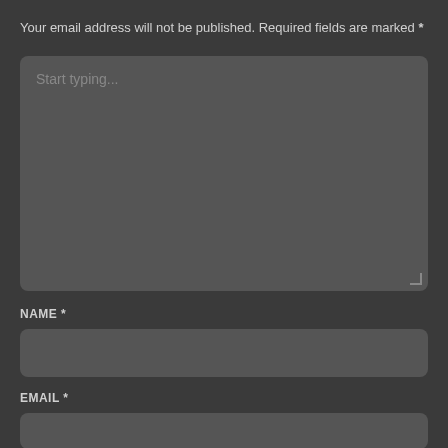Your email address will not be published. Required fields are marked *
Start typing...
NAME *
EMAIL *